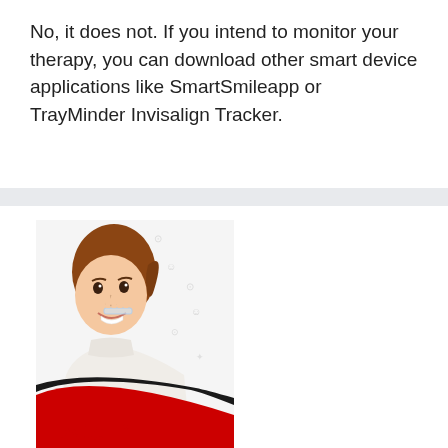No, it does not. If you intend to monitor your therapy, you can download other smart device applications like SmartSmileapp or TrayMinder Invisalign Tracker.
[Figure (photo): Advertisement image for 'byte' dental aligners showing a young woman with auburn hair in a ponytail smiling and holding a clear aligner tray near her mouth. The background has light gray dental/smile icons. The lower portion has a bold red and dark curved swoosh design with the 'byte' logo in red bold text with a registered trademark symbol at the bottom.]